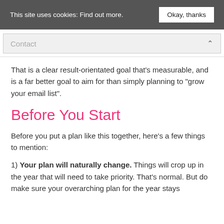This site uses cookies: Find out more.  Okay, thanks
Contact
That is a clear result-orientated goal that’s measurable, and is a far better goal to aim for than simply planning to “grow your email list”.
Before You Start
Before you put a plan like this together, here’s a few things to mention:
1) Your plan will naturally change. Things will crop up in the year that will need to take priority. That’s normal. But do make sure your overarching plan for the year stays broadly on track, if not this results